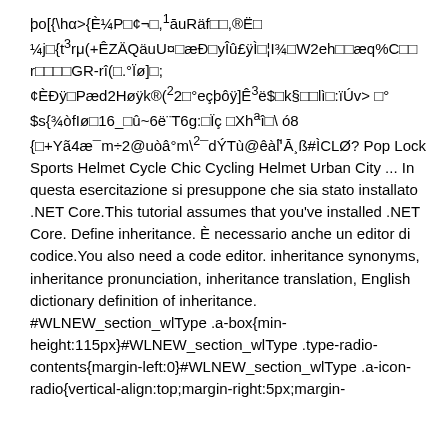þo[{\hα>{È¼P□¢¬□,¹āuRäf□□,®Ë□ ¼j□{t³rμ(+ÊZÄQäuU¤□æÐ□yÎû£ÿÌ□¦I¾□W2eh□□æq%C□□ r□□□□GR-rî(□.°Ïø]□; ¢ÈÐÿ□Pæd2Høÿk®(²2□°eçþôÿ]Ê³ë$□k§□□lì□:ïÚv> □°$s{¾òfIø□16_□û~6ë¨T6g:□Ïç □Xhªî□\ ó8 {□+Yã4æ¯m÷2@uòâ°m\²¯dÝTù@êàl'̃Ā¸ß#ÌCLØ? Pop Lock Sports Helmet Cycle Chic Cycling Helmet Urban City ... In questa esercitazione si presuppone che sia stato installato .NET Core.This tutorial assumes that you've installed .NET Core. Define inheritance. È necessario anche un editor di codice.You also need a code editor. inheritance synonyms, inheritance pronunciation, inheritance translation, English dictionary definition of inheritance. #WLNEW_section_wlType .a-box{min-height:115px}#WLNEW_section_wlType .type-radio-contents{margin-left:0}#WLNEW_section_wlType .a-icon-radio{vertical-align:top;margin-right:5px;margin-